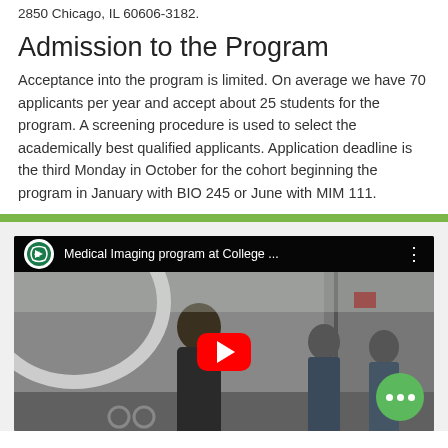2850 Chicago, IL 60606-3182.
Admission to the Program
Acceptance into the program is limited. On average we have 70 applicants per year and accept about 25 students for the program. A screening procedure is used to select the academically best qualified applicants. Application deadline is the third Monday in October for the cohort beginning the program in January with BIO 245 or June with MIM 111.
[Figure (screenshot): YouTube video thumbnail showing 'Medical Imaging program at College ...' with a woman standing in a medical imaging room with equipment and other people in the background. A green chat bubble with three dots appears in the bottom right corner.]